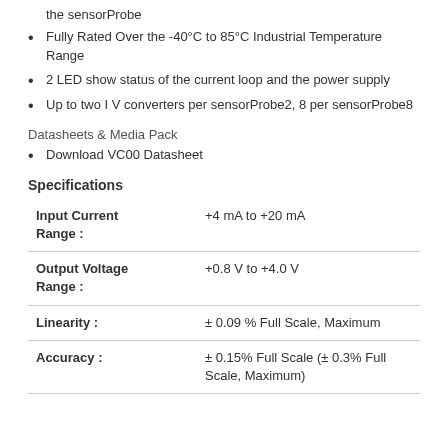the sensorProbe
Fully Rated Over the -40°C to 85°C Industrial Temperature Range
2 LED show status of the current loop and the power supply
Up to two I V converters per sensorProbe2, 8 per sensorProbe8
Datasheets & Media Pack
Download VC00 Datasheet
Specifications
|  |  |
| --- | --- |
| Input Current Range : | +4 mA to +20 mA |
| Output Voltage Range : | +0.8 V to +4.0 V |
| Linearity : | ± 0.09 % Full Scale, Maximum |
| Accuracy : | ± 0.15% Full Scale (± 0.3% Full Scale, Maximum) |